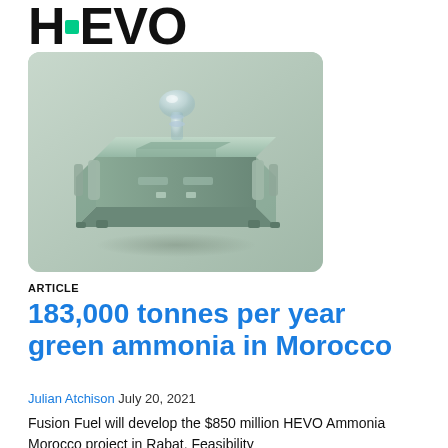HEVO
[Figure (photo): A metallic green industrial device resembling a box-shaped machine with a crystal or glass droplet-shaped element on top, set against a grey background.]
ARTICLE
183,000 tonnes per year green ammonia in Morocco
Julian Atchison July 20, 2021
Fusion Fuel will develop the $850 million HEVO Ammonia Morocco project in Rabat. Feasibility